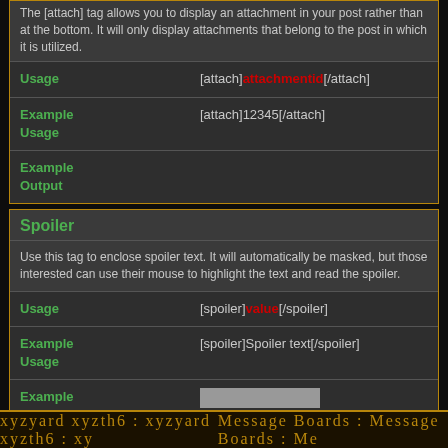|  |  |
| --- | --- |
|  | The [attach] tag allows you to display an attachment in your post rather than at the bottom. It will only display attachments that belong to the post in which it is utilized. |
| Usage | [attach]attachmentid[/attach] |
| Example Usage | [attach]12345[/attach] |
| Example Output |  |
|  |  |
| --- | --- |
| Spoiler | Use this tag to enclose spoiler text. It will automatically be masked, but those interested can use their mouse to highlight the text and read the spoiler. |
| Usage | [spoiler]value[/spoiler] |
| Example Usage | [spoiler]Spoiler text[/spoiler] |
| Example Output | [masked text] |
All times are GMT -6. The time now is 11:34 PM.
Message Boards : Message Boards : Me